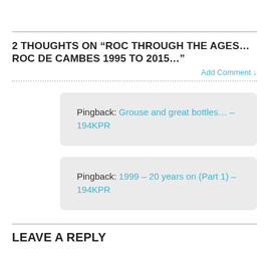2 THOUGHTS ON “ROC THROUGH THE AGES…ROC DE CAMBES 1995 TO 2015…”
Add Comment ↓
Pingback: Grouse and great bottles… – 194KPR
Pingback: 1999 – 20 years on (Part 1) – 194KPR
LEAVE A REPLY